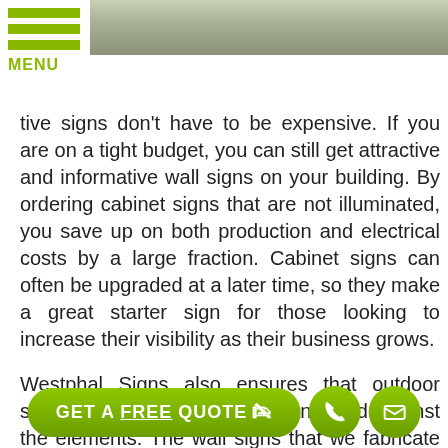[Figure (photo): Top banner image showing a building exterior with foliage]
[Figure (logo): Green hamburger menu icon with three horizontal bars and MENU label in green]
tive signs don't have to be expensive. If you are on a tight budget, you can still get attractive and informative wall signs on your building. By ordering cabinet signs that are not illuminated, you save up on both production and electrical costs by a large fraction. Cabinet signs can often be upgraded at a later time, so they make a great starter sign for those looking to increase their visibility as their business grows.
Westphal Signs also ensures that outdoor signs such as cabinet signs can stand against the elements. The wall signs that we fabricate are made with quality materials so they can stay effective for years. Cabinet signs are also low maintenance, so you don't have to worry about it after it's installed by our team.
[Figure (infographic): Green rounded rectangle CTA button reading GET A FREE QUOTE with cursor icon, accompanied by green phone circle icon and green mail circle icon]